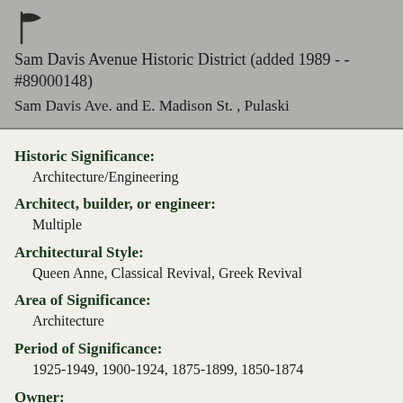[Figure (logo): Small flag icon in dark color]
Sam Davis Avenue Historic District (added 1989 - - #89000148)
Sam Davis Ave. and E. Madison St. , Pulaski
Historic Significance:
Architecture/Engineering
Architect, builder, or engineer:
Multiple
Architectural Style:
Queen Anne, Classical Revival, Greek Revival
Area of Significance:
Architecture
Period of Significance:
1925-1949, 1900-1924, 1875-1899, 1850-1874
Owner:
State,Private
Historic Function: